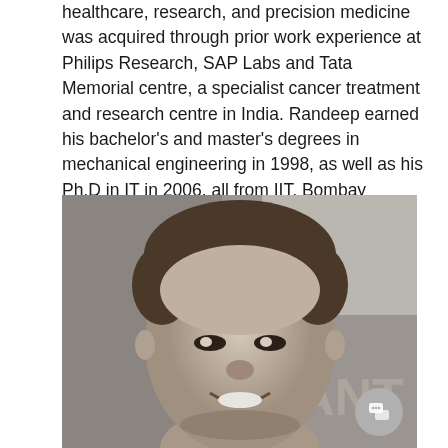healthcare, research, and precision medicine was acquired through prior work experience at Philips Research, SAP Labs and Tata Memorial centre, a specialist cancer treatment and research centre in India. Randeep earned his bachelor's and master's degrees in mechanical engineering in 1998, as well as his Ph.D in IT in 2006, all from IIT, Bombay
[Figure (photo): Black and white portrait photograph of a smiling man, cropped to show face and upper shoulders. Background appears to have partial text 'ANT'. A chat button overlay is visible in the bottom right corner.]